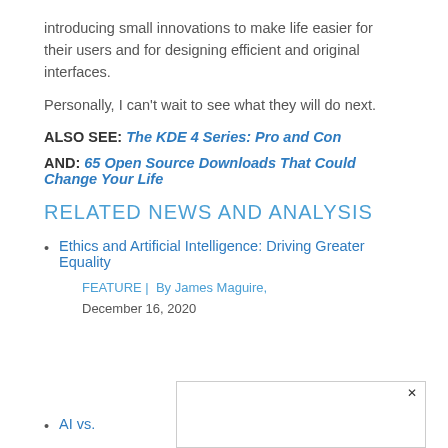introducing small innovations to make life easier for their users and for designing efficient and original interfaces.
Personally, I can't wait to see what they will do next.
ALSO SEE: The KDE 4 Series: Pro and Con
AND: 65 Open Source Downloads That Could Change Your Life
RELATED NEWS AND ANALYSIS
Ethics and Artificial Intelligence: Driving Greater Equality
FEATURE |  By James Maguire, December 16, 2020
AI vs.